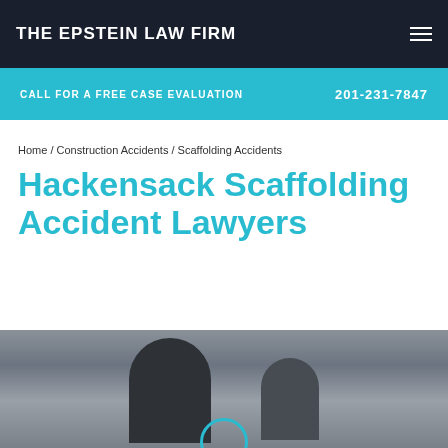THE EPSTEIN LAW FIRM
CALL FOR A FREE CASE EVALUATION    201-231-7847
Home / Construction Accidents / Scaffolding Accidents
Hackensack Scaffolding Accident Lawyers
[Figure (photo): Grayscale photo of two people, likely lawyers, in discussion at a table, partially visible at the bottom of the page with a circular logo element at the bottom center]